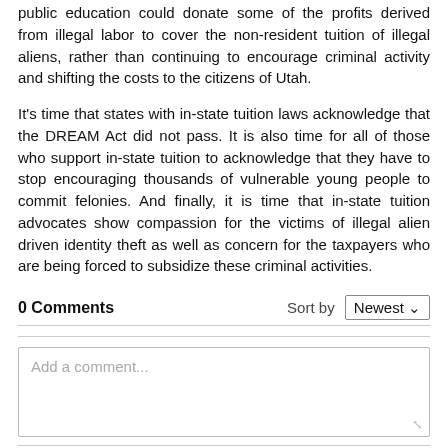public education could donate some of the profits derived from illegal labor to cover the non-resident tuition of illegal aliens, rather than continuing to encourage criminal activity and shifting the costs to the citizens of Utah.
It's time that states with in-state tuition laws acknowledge that the DREAM Act did not pass. It is also time for all of those who support in-state tuition to acknowledge that they have to stop encouraging thousands of vulnerable young people to commit felonies. And finally, it is time that in-state tuition advocates show compassion for the victims of illegal alien driven identity theft as well as concern for the taxpayers who are being forced to subsidize these criminal activities.
0 Comments   Sort by Newest
Add a comment...